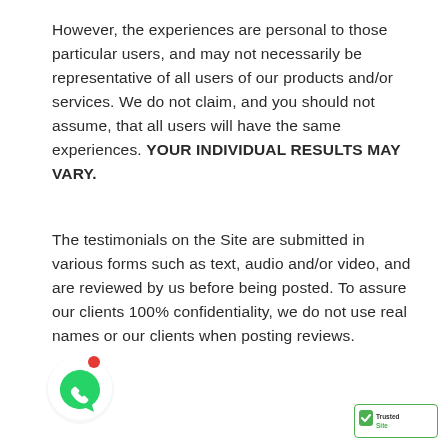However, the experiences are personal to those particular users, and may not necessarily be representative of all users of our products and/or services. We do not claim, and you should not assume, that all users will have the same experiences. YOUR INDIVIDUAL RESULTS MAY VARY.
The testimonials on the Site are submitted in various forms such as text, audio and/or video, and are reviewed by us before being posted. To assure our clients 100% confidentiality, we do not use real names or our clients when posting reviews.
[Figure (logo): WhatsApp chat widget button — circular white button with WhatsApp green phone icon and a red notification dot in the upper right]
[Figure (logo): TrustedSite badge — green bordered badge with checkmark and TrustedSite text, partially visible at bottom right]